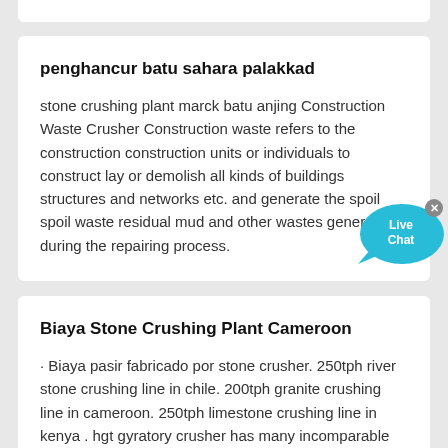penghancur batu sahara palakkad
stone crushing plant marck batu anjing Construction Waste Crusher Construction waste refers to the construction construction units or individuals to construct lay or demolish all kinds of buildings structures and networks etc. and generate the spoil spoil waste residual mud and other wastes generated during the repairing process.
Biaya Stone Crushing Plant Cameroon
· Biaya pasir fabricado por stone crusher. 250tph river stone crushing line in chile. 200tph granite crushing line in cameroon. 250tph limestone crushing line in kenya . hgt gyratory crusher has many incomparable advantages such